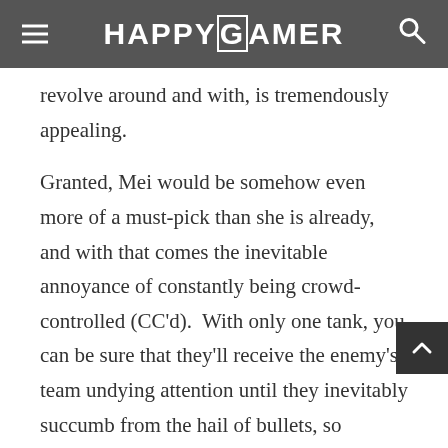HAPPYGAMER
revolve around and with, is tremendously appealing.
Granted, Mei would be somehow even more of a must-pick than she is already, and with that comes the inevitable annoyance of constantly being crowd-controlled (CC'd). With only one tank, you can be sure that they'll receive the enemy's team undying attention until they inevitably succumb from the hail of bullets, so Blizzard will need to massively buff them in order for the mode to gain any legs of its own.